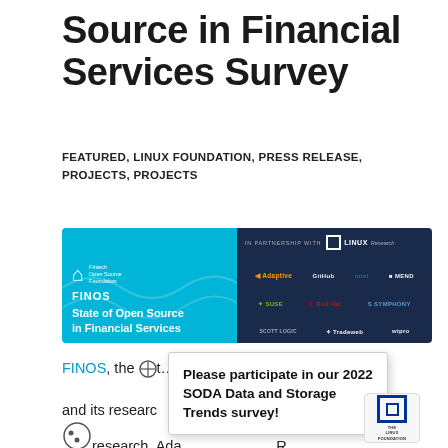Source in Financial Services Survey
FEATURED, LINUX FOUNDATION, PRESS RELEASE, PROJECTS, PROJECTS
[Figure (illustration): FINOS State of Open Source in Financial Services banner. Left side is light blue with FINOS Fintech Open Source Foundation logo and text 'State of Open Source in Financial Services'. Right side is dark navy with 'IN PARTNERSHIP WITH THE LINUX FOUNDATION Research' and logos: Adaptive, GitHub, intel, MEND, SUSE, Red Hat, SYMPHONY, SCOTT LOGIC, Tradeweb, wipro]
FINOS, the [icon]t... ion, and its research... ti... research, Ada... , R... Hot Scott Logic, SUSE, S...
Please participate in our 2022 SODA Data and Storage Trends survey!